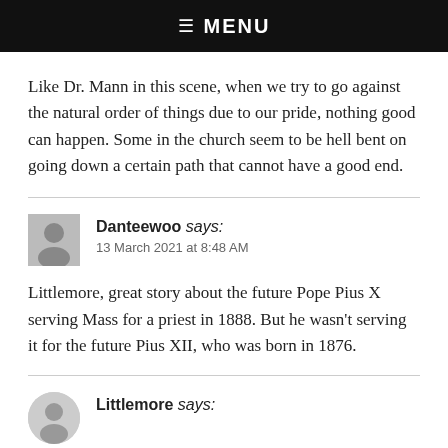☰ MENU
Like Dr. Mann in this scene, when we try to go against the natural order of things due to our pride, nothing good can happen. Some in the church seem to be hell bent on going down a certain path that cannot have a good end.
Danteewoo says: 13 March 2021 at 8:48 AM
Littlemore, great story about the future Pope Pius X serving Mass for a priest in 1888. But he wasn't serving it for the future Pius XII, who was born in 1876.
Littlemore says: